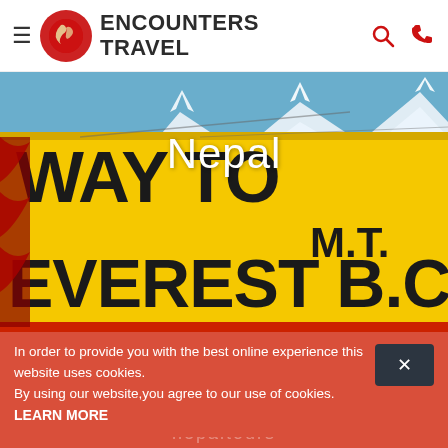ENCOUNTERS TRAVEL
[Figure (photo): A yellow sign reading WAY TO MT. EVEREST B.C. against a snowy mountain backdrop under blue sky, with Nepal text overlay in white]
Nepal
Coronavirus update: Safer Encounters scheme
In order to provide you with the best online experience this website uses cookies. By using our website,you agree to our use of cookies. LEARN MORE